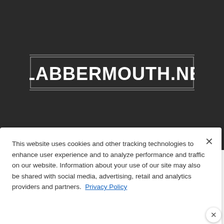[Figure (logo): Blabbermouth.net logo — white stylized bold metallic text on dark background with horizontal lines]
This website uses cookies and other tracking technologies to enhance user experience and to analyze performance and traffic on our website. Information about your use of our site may also be shared with social media, advertising, retail and analytics providers and partners. Privacy Policy
[Figure (infographic): At The Gates concert advertisement banner: August 29, The Fillmore Silver Spring]